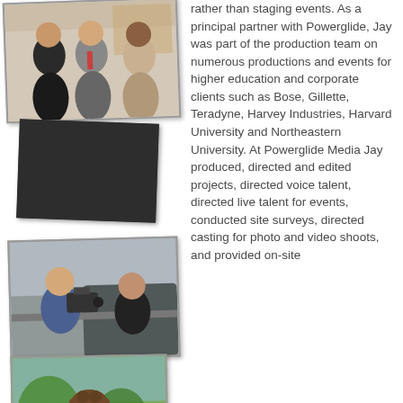[Figure (photo): Three men in suits posing for a photo indoors]
[Figure (photo): Dark/black placeholder image]
[Figure (photo): Cameraman filming near a car, another person nearby]
[Figure (photo): Dark/black placeholder image]
[Figure (photo): Man with curly hair outdoors among greenery]
rather than staging events.  As a principal partner with Powerglide, Jay was part of the production team on numerous productions and events for higher education and corporate clients such as Bose, Gillette, Teradyne, Harvey Industries, Harvard University and Northeastern University.  At Powerglide Media Jay produced, directed and edited projects, directed voice talent, directed live talent for events, conducted site surveys, directed casting for photo and video shoots, and provided on-site